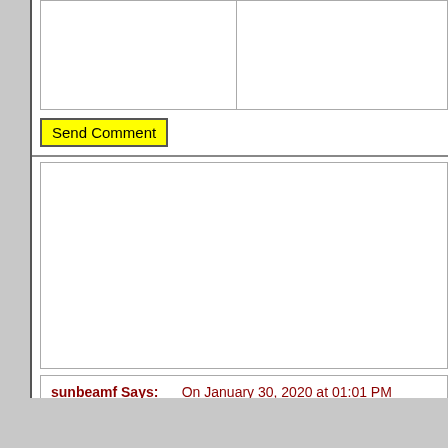[Figure (screenshot): Form input area with two columns separated by a vertical line, representing a comment form with name/email and message fields]
Send Comment
[Figure (screenshot): Empty white box area, likely another form or content area]
sunbeamf Says:       On January 30, 2020 at 01:01 PM
I enjoyed this story and have even driven past the statue. I ch
https://www.genealogybank.com/doc/newspapers/image/v2%
165D9B264B36E9F0%40?
h=7&fname=frank&lname=vanderbilt&fullname=&kwinc=&kw
Apparently Jennie was one of two bears and had a little bear!